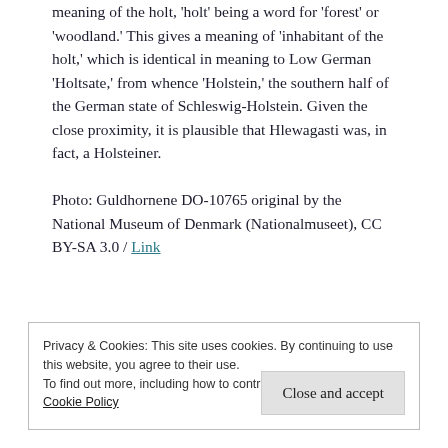meaning of the holt, 'holt' being a word for 'forest' or 'woodland.' This gives a meaning of 'inhabitant of the holt,' which is identical in meaning to Low German 'Holtsate,' from whence 'Holstein,' the southern half of the German state of Schleswig-Holstein. Given the close proximity, it is plausible that Hlewagasti was, in fact, a Holsteiner.
Photo: Guldhornene DO-10765 original by the National Museum of Denmark (Nationalmuseet), CC BY-SA 3.0 / Link
Privacy & Cookies: This site uses cookies. By continuing to use this website, you agree to their use.
To find out more, including how to control cookies, see here: Cookie Policy